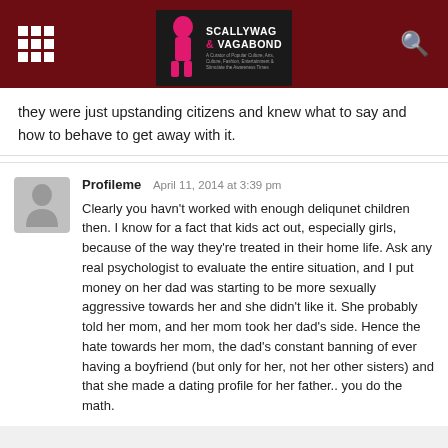Scallywag & Vagabond
they were just upstanding citizens and knew what to say and how to behave to get away with it.
Profileme  April 11, 2014 at 3:39 pm
Clearly you havn't worked with enough deliqunet children then. I know for a fact that kids act out, especially girls, because of the way they're treated in their home life. Ask any real psychologist to evaluate the entire situation, and I put money on her dad was starting to be more sexually aggressive towards her and she didn't like it. She probably told her mom, and her mom took her dad's side. Hence the hate towards her mom, the dad's constant banning of ever having a boyfriend (but only for her, not her other sisters) and that she made a dating profile for her father.. you do the math.